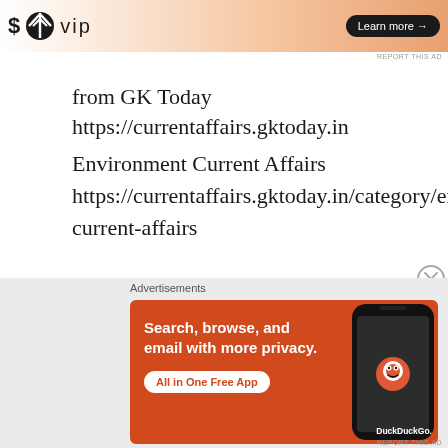[Figure (screenshot): Top advertisement banner with WordPress VIP logo on gradient background and 'Learn more' button]
from GK Today https://currentaffairs.gktoday.in
Environment Current Affairs https://currentaffairs.gktoday.in/category/environment-current-affairs
To read GK also use gk today
https://www.gktoday.in/general-knowledge/
and to practice also you may use GK today
[Figure (screenshot): DuckDuckGo advertisement: orange background with text 'Search, browse, and email with more privacy. All in One Free App' and phone image with DuckDuckGo logo]